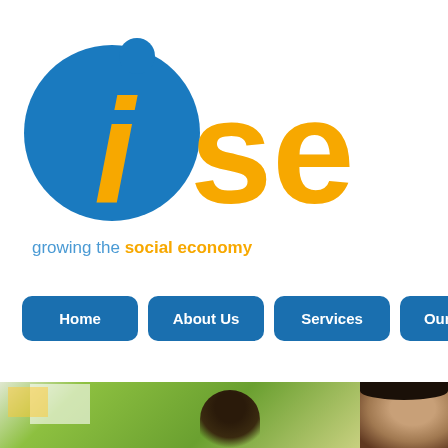[Figure (logo): ISE logo — blue circle with orange italic i and blue dot, with orange 'se' text beside it. Tagline: growing the social economy]
growing the social economy
[Figure (other): Navigation bar with blue rounded rectangle buttons: Home, About Us, Services, Our Work, Events]
[Figure (photo): Two cropped photos at the bottom: a green office interior with a person, and a close-up of a man's face on the right]